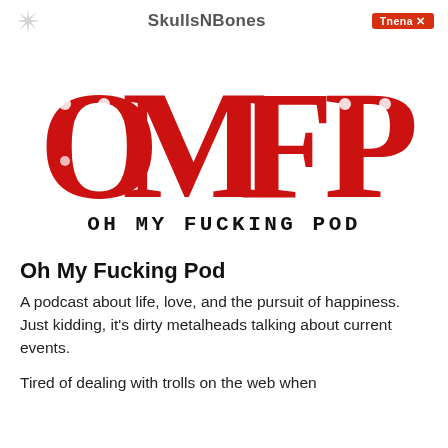SkullsNBones | Tnena
[Figure (logo): OMFP logo in large red decorative gothic lettering on white background]
OH MY FUCKING POD
Oh My Fucking Pod
A podcast about life, love, and the pursuit of happiness. Just kidding, it's dirty metalheads talking about current events.
Tired of dealing with trolls on the web when